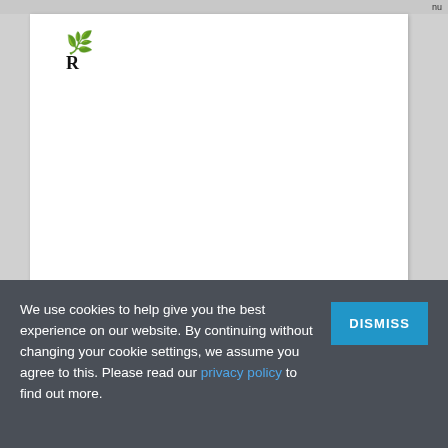nu
[Figure (screenshot): Partial website screenshot showing a logo (stylized icon and bold letter R) on a white content card area against a light gray browser background]
The world is square, borders are square, land is square, street blocks and houses with windows and doors are square, gardens are square, trees are square, furniture is square, cars are square, doors and windows are square, my computer is square,
We use cookies to help give you the best experience on our website. By continuing without changing your cookie settings, we assume you agree to this. Please read our privacy policy to find out more.